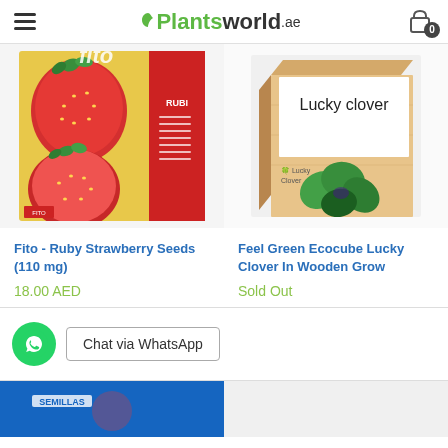Plantsworld.ae
[Figure (photo): Fito Ruby Strawberry Seeds packet with red strawberries on yellow background]
[Figure (photo): Feel Green Ecocube Lucky Clover in wooden grow cube box with clover leaves]
Fito - Ruby Strawberry Seeds (110 mg)
Feel Green Ecocube Lucky Clover In Wooden Grow
18.00 AED
Sold Out
Chat via WhatsApp
[Figure (photo): Bottom partial product images - strawberry seeds blue packet and another product]